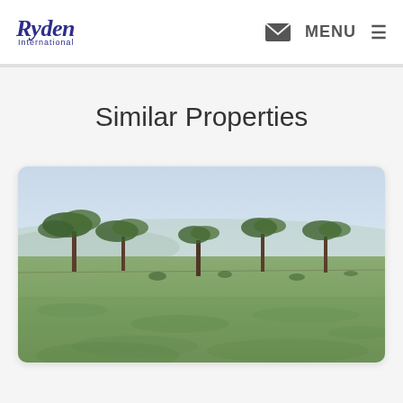Ryden International — MENU
Similar Properties
[Figure (photo): Outdoor landscape photo showing an open grassy field with scattered acacia trees and a hazy horizon in the background, typical of East African savanna terrain.]